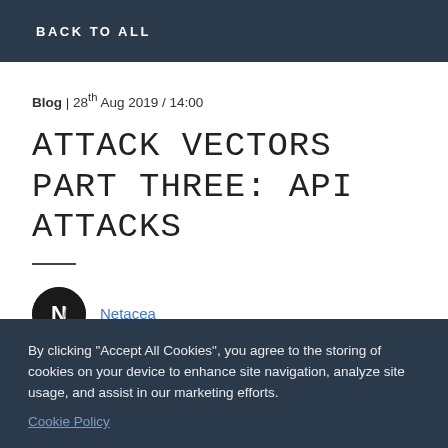BACK TO ALL
Blog | 28th Aug 2019 / 14:00
ATTACK VECTORS PART THREE: API ATTACKS
Netacea
By clicking "Accept All Cookies", you agree to the storing of cookies on your device to enhance site navigation, analyze site usage, and assist in our marketing efforts. Cookie Policy